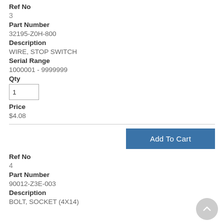Ref No
3
Part Number
32195-Z0H-800
Description
WIRE, STOP SWITCH
Serial Range
1000001 - 9999999
Qty
Price
$4.08
Ref No
4
Part Number
90012-Z3E-003
Description
BOLT, SOCKET (4X14)